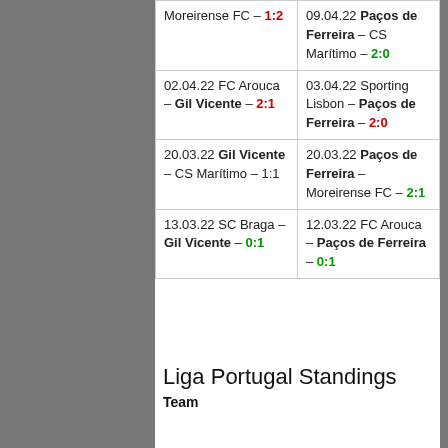[Figure (photo): Black and white background photo of football/soccer players]
| Left Column | Right Column |
| --- | --- |
| Moreirense FC – 1:2 | 09.04.22 Paços de Ferreira – CS Marítimo – 2:0 |
| 02.04.22 FC Arouca – Gil Vicente – 2:1 | 03.04.22 Sporting Lisbon – Paços de Ferreira – 2:0 |
| 20.03.22 Gil Vicente – CS Marítimo – 1:1 | 20.03.22 Paços de Ferreira – Moreirense FC – 2:1 |
| 13.03.22 SC Braga – Gil Vicente – 0:1 | 12.03.22 FC Arouca – Paços de Ferreira – 0:1 |
Liga Portugal Standings
Team